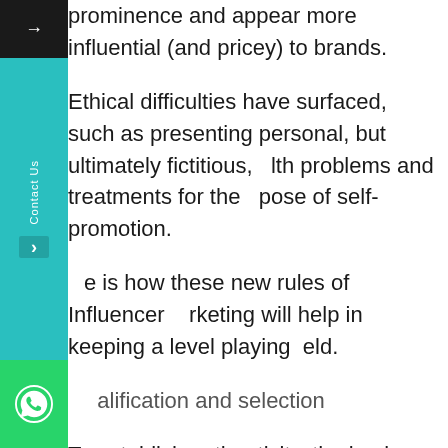prominence and appear more influential (and pricey) to brands.
Ethical difficulties have surfaced, such as presenting personal, but ultimately fictitious, health problems and treatments for the purpose of self-promotion.
Here is how these new rules of Influencer Marketing will help in keeping a level playing field.
Qualification and selection
To establish authenticity, the business or marketer must have access to the influencer's audience demographics and details. Brand